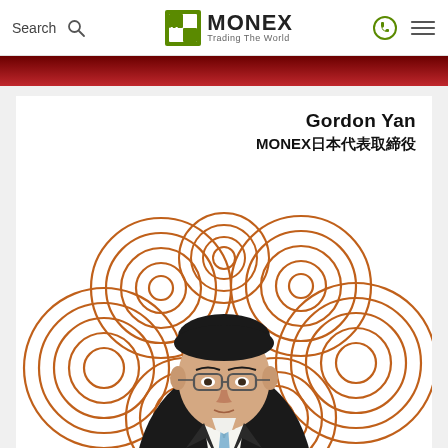Search | MONEX Trading The World
Gordon Yan
MONEX日本代表取締役
[Figure (photo): Professional headshot of Gordon Yan, a man wearing glasses, black suit and light blue tie, posed against a decorative golden spiral/cloud pattern background]